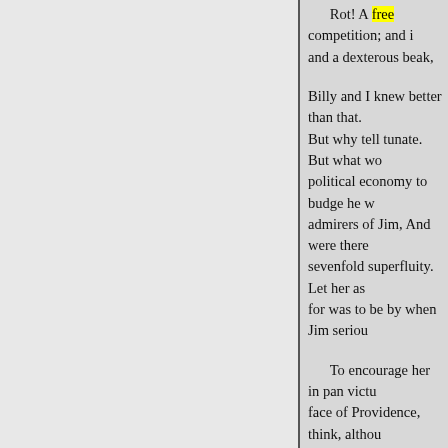Rot! A free competition; and i and a dexterous beak,
Billy and I knew better than that. But why tell tunate. But what wo political economy to budge he w admirers of Jim, And were there sevenfold superfluity. Let her as for was to be by when Jim seriou
To encourage her in pan victu face of Providence, think, althou was Jim's business to lift his hat would view of it, straight to pate
ment, state aid, and pauperism. N socialism itself! beside the milk- his way to happen round store-h flowed with plenty, while Kartof within her. walk where he stored sidle up to the dish, get looked f could be the matter with Kartoffe
her fire was so slow? We looke
« Ankstesnis